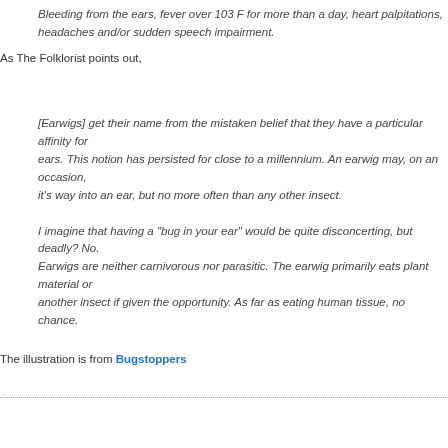Bleeding from the ears, fever over 103 F for more than a day, heart palpitations, headaches and/or sudden speech impairment.
As The Folklorist points out,
[Earwigs] get their name from the mistaken belief that they have a particular affinity for ears. This notion has persisted for close to a millennium. An earwig may, on a rare occasion, find it's way into an ear, but no more often than any other insect.
I imagine that having a "bug in your ear" would be quite disconcerting, but deadly? No. Earwigs are neither carnivorous nor parasitic. The earwig primarily eats plant material or another insect if given the opportunity. As far as eating human tissue, no chance.
The illustration is from Bugstoppers